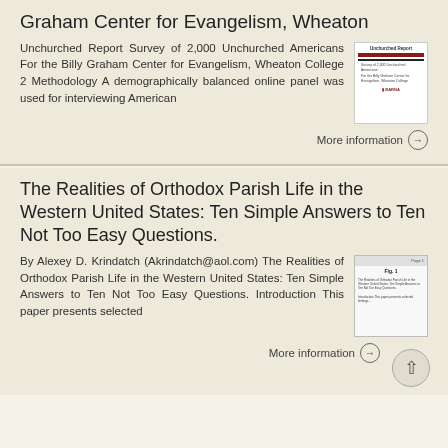Graham Center for Evangelism, Wheaton
Unchurched Report Survey of 2,000 Unchurched Americans For the Billy Graham Center for Evangelism, Wheaton College 2 Methodology A demographically balanced online panel was used for interviewing American
[Figure (other): Thumbnail image of a report cover: Unchurched Report with red and black bars, subtitle text, and a logo at the bottom]
More information →
The Realities of Orthodox Parish Life in the Western United States: Ten Simple Answers to Ten Not Too Easy Questions.
By Alexey D. Krindatch (Akrindatch@aol.com) The Realities of Orthodox Parish Life in the Western United States: Ten Simple Answers to Ten Not Too Easy Questions. Introduction This paper presents selected
[Figure (other): Thumbnail image of a document page showing a title and body text]
More information →